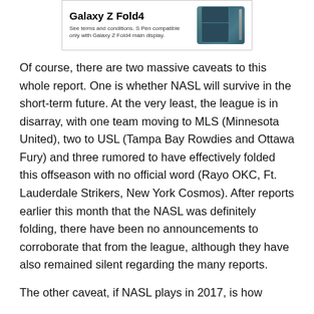[Figure (other): Advertisement for Samsung Galaxy Z Fold4 showing product image with phone and S Pen]
Of course, there are two massive caveats to this whole report. One is whether NASL will survive in the short-term future. At the very least, the league is in disarray, with one team moving to MLS (Minnesota United), two to USL (Tampa Bay Rowdies and Ottawa Fury) and three rumored to have effectively folded this offseason with no official word (Rayo OKC, Ft. Lauderdale Strikers, New York Cosmos). After reports earlier this month that the NASL was definitely folding, there have been no announcements to corroborate that from the league, although they have also remained silent regarding the many reports.
The other caveat, if NASL plays in 2017, is how